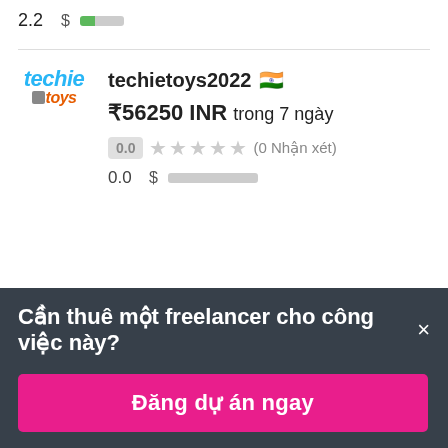2.2  $ [rating bar]
[Figure (screenshot): techie toys logo - stylized italic text in blue and orange]
techietoys2022 🇮🇳
₹56250 INR trong 7 ngày
0.0 ★★★★★ (0 Nhận xét)
0.0 $ [score bar]
Cần thuê một freelancer cho công việc này? ×
Đăng dự án ngay